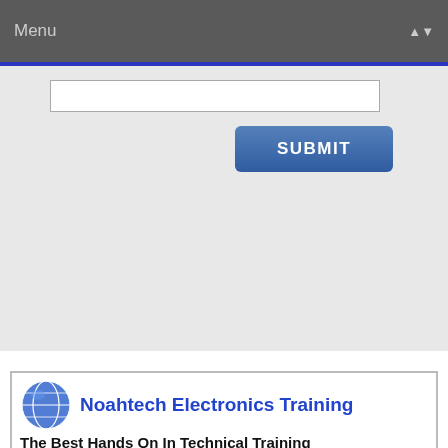Menu
[Figure (screenshot): Web form with a text input field and a blue SUBMIT button on a light grey background]
[Figure (infographic): Noahtech Electronics Training advertisement banner showing globe logo, title 'Noahtech Electronics Training', subtitle 'The Best Hands On In Technical Training', two photos of students in a training lab, and a 'Free Repair Report - Click Here Now' banner]